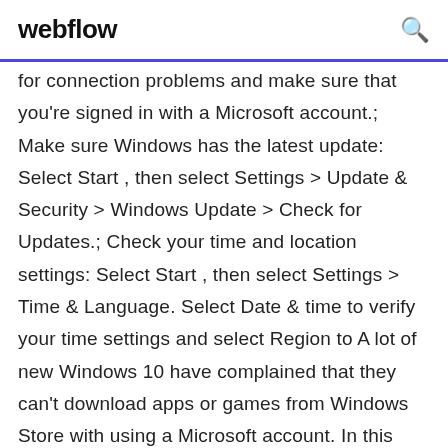webflow
for connection problems and make sure that you're signed in with a Microsoft account.; Make sure Windows has the latest update: Select Start , then select Settings > Update & Security > Windows Update > Check for Updates.; Check your time and location settings: Select Start , then select Settings > Time & Language. Select Date & time to verify your time settings and select Region to A lot of new Windows 10 have complained that they can't download apps or games from Windows Store with using a Microsoft account. In this tutorial, i will display with images how you can download from Microsoft App store without linking your account to your MS account. On